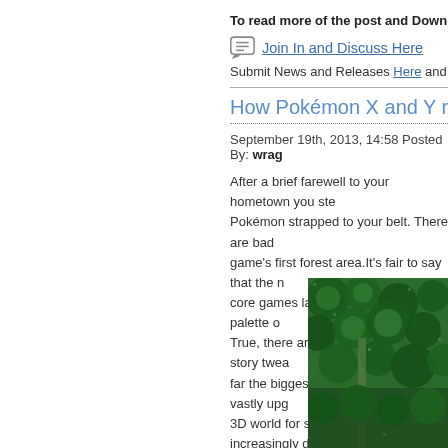To read more of the post and Download, cli
Join In and Discuss Here
Submit News and Releases Here and Contact
How Pokémon X and Y ref
September 19th, 2013, 14:58 Posted By: wrag
After a brief farewell to your hometown you ste... Pokémon strapped to your belt. There are bad... game's first forest area.It's fair to say that the n... core games later and with Nintendo's palette o... True, there are a few gameplay and story twea... far the biggest change is the game's vastly upg... 3D world for some time, with increasingly dyna... that's a blend of Pokémon's classic top-down v... top-down perspective for the majority of overw... detail found in the world and keeps the action f
[Figure (screenshot): Screenshot of Pokémon X/Y game showing a green forest/grass area from top-down perspective]